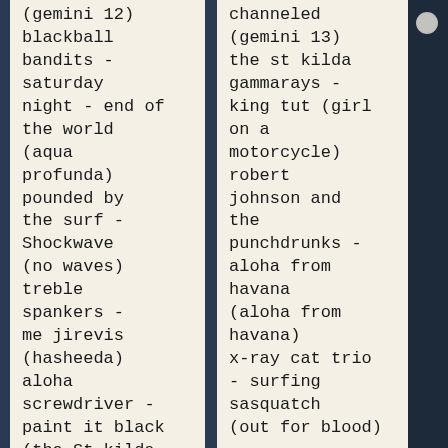(gemini 12) blackball bandits - saturday night - end of the world (aqua profunda) pounded by the surf - Shockwave (no waves) treble spankers - me jirevis (hasheeda) aloha screwdriver - paint it black (the St kilda...
channeled (gemini 13) the st kilda gammarays - king tut (girl on a motorcycle) robert johnson and the punchdrunks - aloha from havana (aloha from havana) x-ray cat trio - surfing sasquatch (out for blood)